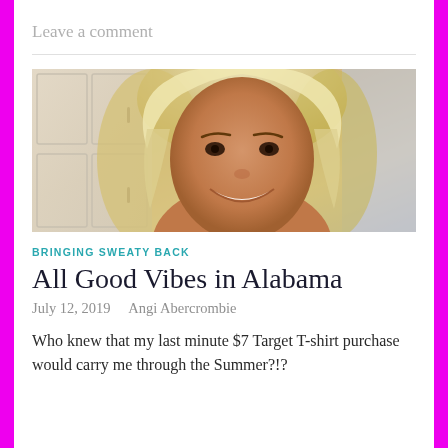Leave a comment
[Figure (photo): Selfie photo of a woman with blonde hair, tanned skin, smiling, taken indoors near white cabinets]
BRINGING SWEATY BACK
All Good Vibes in Alabama
July 12, 2019   Angi Abercrombie
Who knew that my last minute $7 Target T-shirt purchase would carry me through the Summer?!?